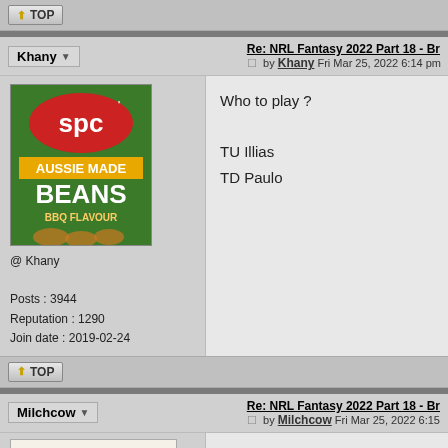TOP
Khany
Re: NRL Fantasy 2022 Part 18 - Br
by Khany Fri Mar 25, 2022 6:14 pm
[Figure (photo): SPC Aussie Made Beans BBQ Flavour can]
@ Khany
Posts : 3944
Reputation : 1290
Join date : 2019-02-24
Who to play ?

TU Illias
TD Paulo
TOP
Milchcow
Re: NRL Fantasy 2022 Part 18 - Br
by Milchcow Fri Mar 25, 2022 6:15
[Figure (photo): Milchcow avatar image]
3 (edit 4) dropped balls with b